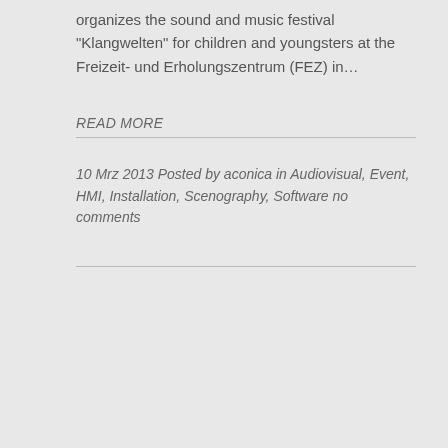organizes the sound and music festival “Klangwelten” for children and youngsters at the Freizeit- und Erholungszentrum (FEZ) in…
READ MORE
10 Mrz 2013 Posted by aconica in Audiovisual, Event, HMI, Installation, Scenography, Software
no comments